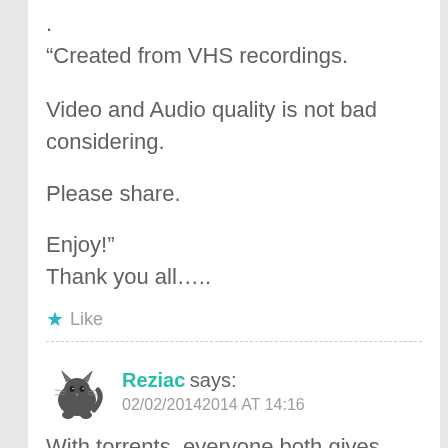.
“Created from VHS recordings.

Video and Audio quality is not bad considering.

Please share.

Enjoy!”
Thank you all…..
★ Like
Reziac says:
02/02/20142014 AT 14:16
With torrents, everyone both gives and